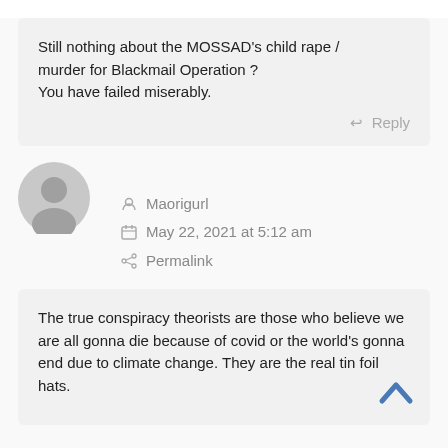Still nothing about the MOSSAD’s child rape / murder for Blackmail Operation ? You have failed miserably.
Reply
[Figure (illustration): Gray default user avatar icon (circle head and shoulders silhouette)]
Maorigurl
May 22, 2021 at 5:12 am
Permalink
The true conspiracy theorists are those who believe we are all gonna die because of covid or the world’s gonna end due to climate change. They are the real tin foil hats.